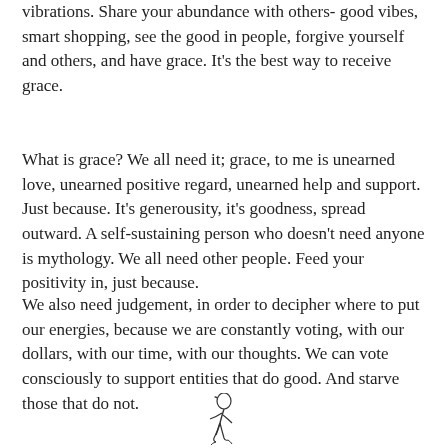vibrations. Share your abundance with others- good vibes, smart shopping, see the good in people, forgive yourself and others, and have grace. It's the best way to receive grace.
What is grace? We all need it; grace, to me is unearned love, unearned positive regard, unearned help and support. Just because. It's generousity, it's goodness, spread outward. A self-sustaining person who doesn't need anyone is mythology. We all need other people. Feed your positivity in, just because.
We also need judgement, in order to decipher where to put our energies, because we are constantly voting, with our dollars, with our time, with our thoughts. We can vote consciously to support entities that do good. And starve those that do not.
[Figure (illustration): Small black and white illustration of a figure, appearing to be a person or creature in motion, located at the bottom center of the page.]